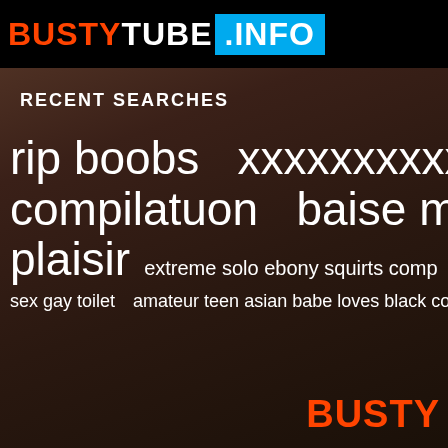BUSTYTUBE .INFO
RECENT SEARCHES
rip boobs
xxxxxxxxxxxxw
schoo
compilatuon
baise ma femm
plaisir
extreme solo ebony squirts comp
only jessica za
sex gay toilet
amateur teen asian babe loves black cock
mexica
[Figure (photo): Background photo of a woman in white lingerie on a dark background]
BUSTY